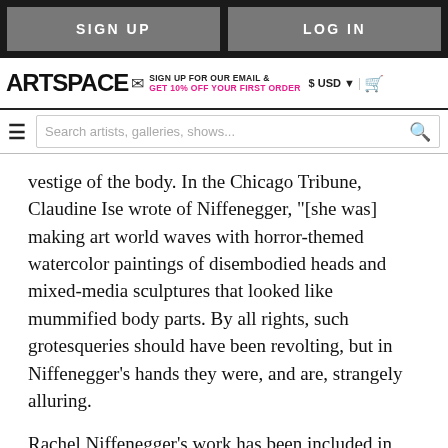SIGN UP | LOG IN
ARTSPACE — SIGN UP FOR OUR EMAIL & GET 10% OFF YOUR FIRST ORDER — $ USD | cart
Search artists, galleries, shows...
vestige of the body. In the Chicago Tribune, Claudine Ise wrote of Niffenegger, “[she was] making art world waves with horror-themed watercolor paintings of disembodied heads and mixed-media sculptures that looked like mummified body parts. By all rights, such grotesqueries should have been revolting, but in Niffenegger’s hands they were, and are, strangely alluring.
Rachel Niffenegger’s work has been included in group shows shown at Museum for Modern Art in Arnhem...